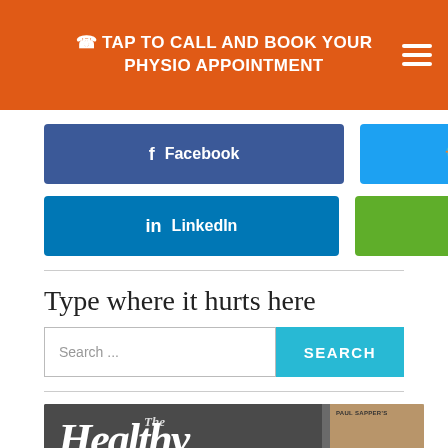TAP TO CALL AND BOOK YOUR PHYSIO APPOINTMENT
Facebook
Twitter
LinkedIn
Print Friendly
Type where it hurts here
Search ...
[Figure (photo): The Healthy Habit book cover with a man's face, partially visible]